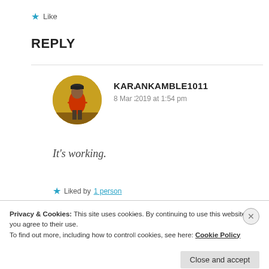★ Like
REPLY
[Figure (photo): Circular avatar photo of user karankamble1011, showing a person in a red shirt against a yellow background]
KARANKAMBLE1011
8 Mar 2019 at 1:54 pm
It's working.
★ Liked by 1 person
Privacy & Cookies: This site uses cookies. By continuing to use this website, you agree to their use.
To find out more, including how to control cookies, see here: Cookie Policy
Close and accept